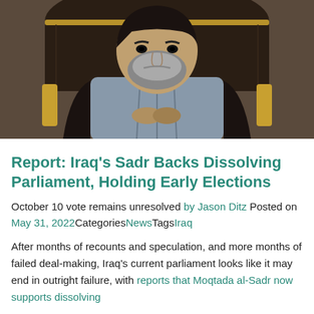[Figure (photo): A bearded man in a light blue-grey robe or religious garment seated in an ornate chair with gold detailing. The image is a close-up portrait.]
Report: Iraq's Sadr Backs Dissolving Parliament, Holding Early Elections
October 10 vote remains unresolved by Jason Ditz Posted on May 31, 2022 Categories News Tags Iraq
After months of recounts and speculation, and more months of failed deal-making, Iraq's current parliament looks like it may end in outright failure, with reports that Moqtada al-Sadr now supports dissolving parliament and holding new elections.